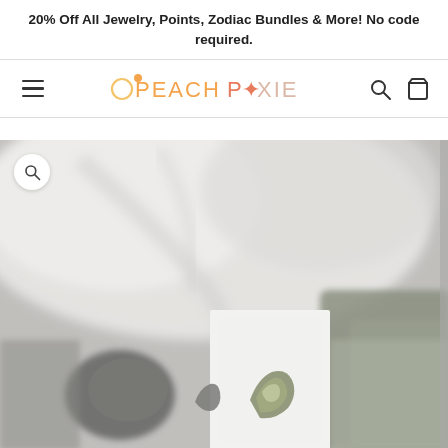20% Off All Jewelry, Points, Zodiac Bundles & More! No code required.
[Figure (logo): PeachPixie logo with hamburger menu, search and cart icons in navigation bar]
[Figure (photo): Product photo showing rough gemstone crystal ear studs on a white card, displayed on a gray fabric background with blurred textile backdrop. Black and white toned photo.]